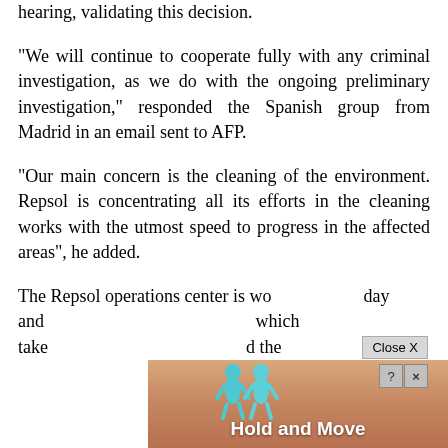hearing, validating this decision.
"We will continue to cooperate fully with any criminal investigation, as we do with the ongoing preliminary investigation," responded the Spanish group from Madrid in an email sent to AFP.
"Our main concern is the cleaning of the environment. Repsol is concentrating all its efforts in the cleaning works with the utmost speed to progress in the affected areas", he added.
The Repsol operations center is working day and night which take d the
[Figure (screenshot): An advertisement overlay with a 'Close X' button, two icons of blue figures (Hold and Move game), and a 'Hold and Move' label on a sandy/wood background. Ad controls (?, X) visible.]